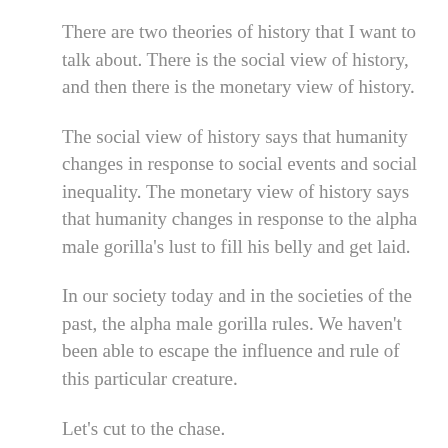There are two theories of history that I want to talk about. There is the social view of history, and then there is the monetary view of history.
The social view of history says that humanity changes in response to social events and social inequality. The monetary view of history says that humanity changes in response to the alpha male gorilla's lust to fill his belly and get laid.
In our society today and in the societies of the past, the alpha male gorilla rules. We haven't been able to escape the influence and rule of this particular creature.
Let's cut to the chase.